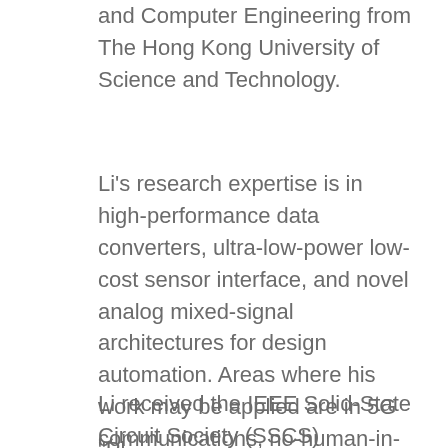and Computer Engineering from The Hong Kong University of Science and Technology.
Li's research expertise is in high-performance data converters, ultra-low-power low-cost sensor interface, and novel analog mixed-signal architectures for design automation. Areas where his work may be applied are in 5G communications, no-human-in-the-loop design automation, and brain-machine interfacing.
Li received the IEEE Solid-State Circuit Society (SSCS) Predoctoral Achievement Award in 2019. In addition to being a member of IEEE-SSCS, he also belongs to the IEEE Circuits and Systems Society.
"Pl...